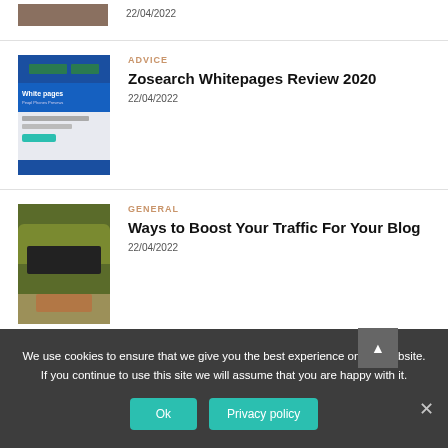[Figure (photo): Partial thumbnail of an article image at the top (cropped), brownish tones]
22/04/2022
[Figure (screenshot): Screenshot of White pages website with blue and green header]
ADVICE
Zosearch Whitepages Review 2020
22/04/2022
[Figure (photo): Green typewriter with hands typing on it]
GENERAL
Ways to Boost Your Traffic For Your Blog
22/04/2022
We use cookies to ensure that we give you the best experience on our website. If you continue to use this site we will assume that you are happy with it.